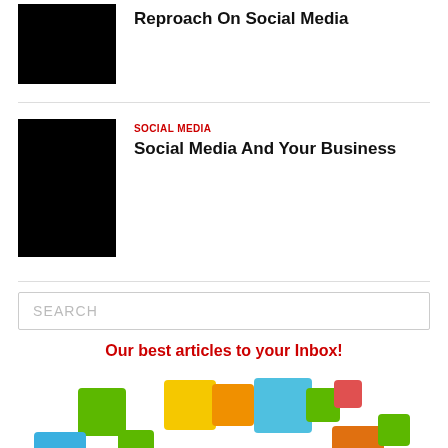Reproach On Social Media
SOCIAL MEDIA
Social Media And Your Business
SEARCH
Our best articles to your Inbox!
[Figure (illustration): Colorful Subscribe Now banner with multicolored squares and bold white 3D text reading Subscribe Now]